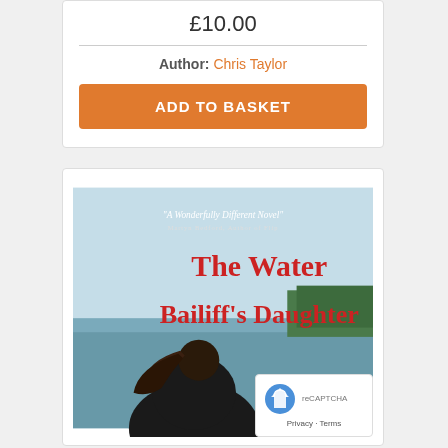£10.00
Author: Chris Taylor
ADD TO BASKET
[Figure (illustration): Book cover of 'The Water Bailiff's Daughter' with a woman seen from behind looking at a lake/sea, with text 'A Wonderfully Different Novel' by Martyn Bedford, Author of Flip]